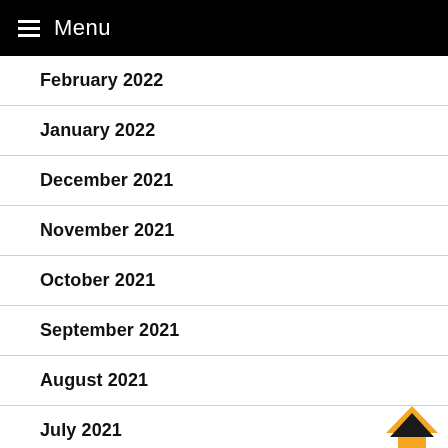Menu
February 2022
January 2022
December 2021
November 2021
October 2021
September 2021
August 2021
July 2021
June 2021
May 2021